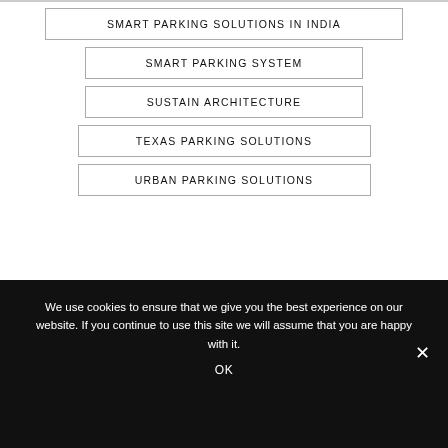SMART PARKING SOLUTIONS IN INDIA
SMART PARKING SYSTEM
SUSTAIN ARCHITECTURE
TEXAS PARKING SOLUTIONS
URBAN PARKING SOLUTIONS
[Figure (infographic): Social media icons row: Facebook, Twitter, LinkedIn, Pinterest as circular bordered buttons]
We use cookies to ensure that we give you the best experience on our website. If you continue to use this site we will assume that you are happy with it.
OK